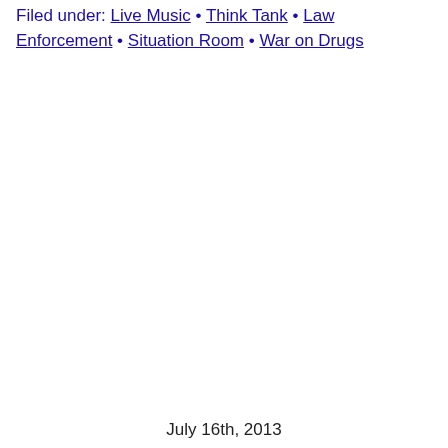Filed under: Live Music • Think Tank • Law Enforcement • Situation Room • War on Drugs
July 16th, 2013